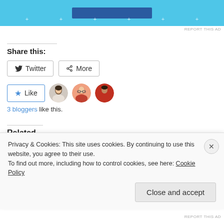[Figure (screenshot): Advertisement banner with blue background and dark blue button, with small dot indicators below]
REPORT THIS AD
Share this:
[Figure (screenshot): Twitter share button and More share button]
[Figure (screenshot): Like button with star icon and three blogger avatars]
3 bloggers like this.
Related
[Figure (screenshot): Related post thumbnail: IT IS IMPOSSIBLE green graphic]
[Figure (screenshot): Cookie consent banner: Privacy & Cookies: This site uses cookies. By continuing to use this website, you agree to their use. To find out more, including how to control cookies, see here: Cookie Policy. Close and accept button.]